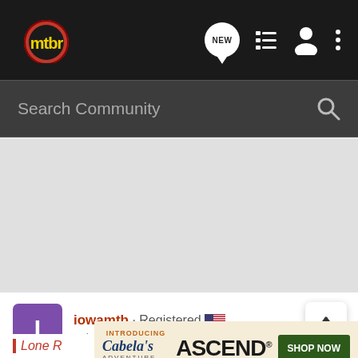[Figure (logo): MTBR mountain bike review logo - yellow text 'mtbr' on dark circular background with red and dark ring]
[Figure (screenshot): Navigation bar icons: NEW speech bubble, list icon, user icon, three-dots menu]
Search Community
[Figure (screenshot): Large gray advertisement/content area in middle of page]
[Figure (screenshot): User avatar 'I' purple square]
iowamtb · Registered 🇺🇸
Joined May 17, 2014 · 1,621 Posts
Discussion Starter · #6 · Aug 26, 2019
[Figure (screenshot): Cabela's Ascend Adventure Bikes advertisement banner with SHOP NOW button]
Lone R...